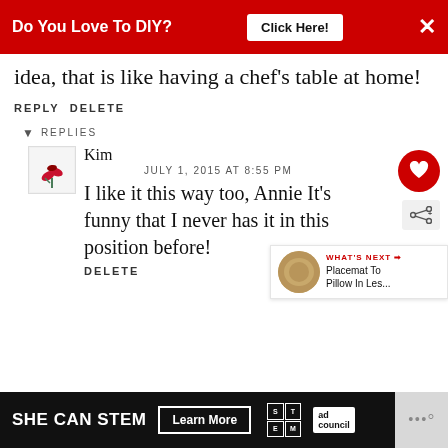Do You Love To DIY? Click Here!
idea, that is like having a chef's table at home!
REPLY DELETE
▾ REPLIES
Kim
JULY 1, 2015 AT 8:55 PM
I like it this way too, Annie It's funny that I never has it in this position before!
DELETE
[Figure (infographic): What's Next promo box: Placemat To Pillow In Les...]
SHE CAN STEM Learn More